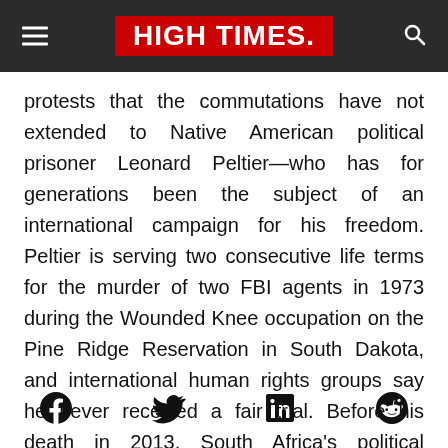HIGH TIMES
protests that the commutations have not extended to Native American political prisoner Leonard Peltier—who has for generations been the subject of an international campaign for his freedom. Peltier is serving two consecutive life terms for the murder of two FBI agents in 1973 during the Wounded Knee occupation on the Pine Ridge Reservation in South Dakota, and international human rights groups say he never received a fair trial. Before his death in 2013, South Africa's political prisoner-turned-president Nelson Mandela joined the many public figures around the world who have called for the
[Figure (other): Social media sharing icons: Facebook, Twitter, LinkedIn, Reddit]